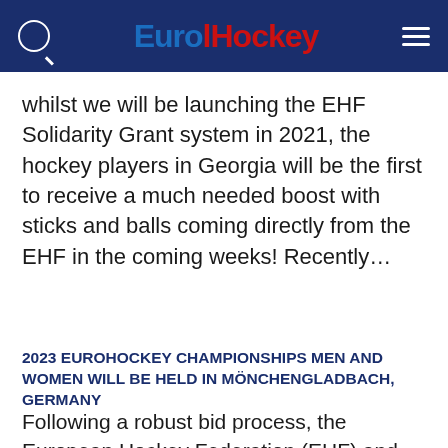EuroHockey
whilst we will be launching the EHF Solidarity Grant system in 2021, the hockey players in Georgia will be the first to receive a much needed boost with sticks and balls coming directly from the EHF in the coming weeks! Recently…
2023 EUROHOCKEY CHAMPIONSHIPS MEN AND WOMEN WILL BE HELD IN MÖNCHENGLADBACH, GERMANY
Following a robust bid process, the European Hockey Federation (EHF) and the Deutscher Hockey Bund (DHB) are delighted to announce that 2023